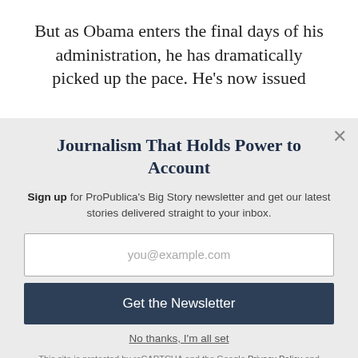But as Obama enters the final days of his administration, he has dramatically picked up the pace. He’s now issued
Journalism That Holds Power to Account
Sign up for ProPublica’s Big Story newsletter and get our latest stories delivered straight to your inbox.
you@example.com
Get the Newsletter
No thanks, I’m all set
This site is protected by reCAPTCHA and the Google Privacy Policy and Terms of Service apply.